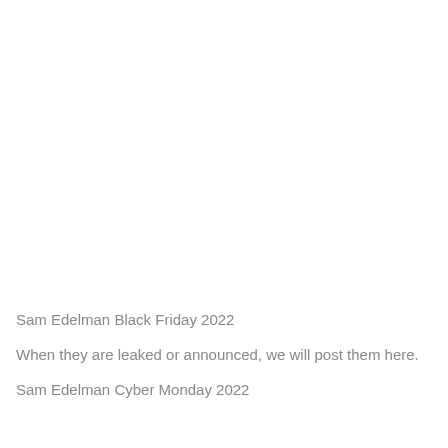Sam Edelman Black Friday 2022
When they are leaked or announced, we will post them here.
Sam Edelman Cyber Monday 2022